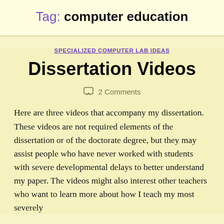Tag: computer education
SPECIALIZED COMPUTER LAB IDEAS
Dissertation Videos
2 Comments
Here are three videos that accompany my dissertation. These videos are not required elements of the dissertation or of the doctorate degree, but they may assist people who have never worked with students with severe developmental delays to better understand my paper. The videos might also interest other teachers who want to learn more about how I teach my most severely